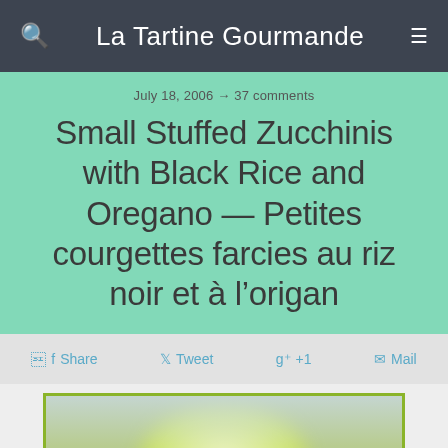La Tartine Gourmande
July 18, 2006 → 37 comments
Small Stuffed Zucchinis with Black Rice and Oregano — Petites courgettes farcies au riz noir et à l'origan
Share  Tweet  g+ +1  Mail
[Figure (photo): Close-up blurred photo of small stuffed zucchinis, yellow-green vegetables visible with blurred background]